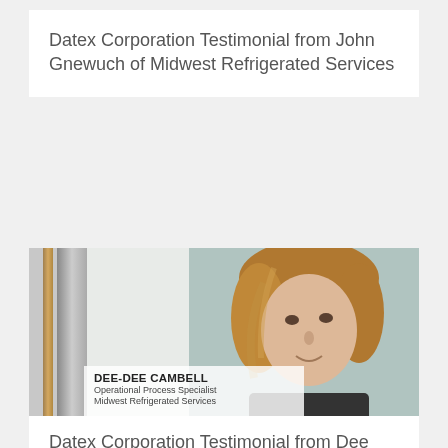Datex Corporation Testimonial from John Gnewuch of Midwest Refrigerated Services
[Figure (photo): Photo of Dee-Dee Cambell, Operational Process Specialist at Midwest Refrigerated Services, with bronze vertical bar design element on left side and name overlay at bottom]
Datex Corporation Testimonial from Dee Dee Campbell of Midwest Refrigerated Services